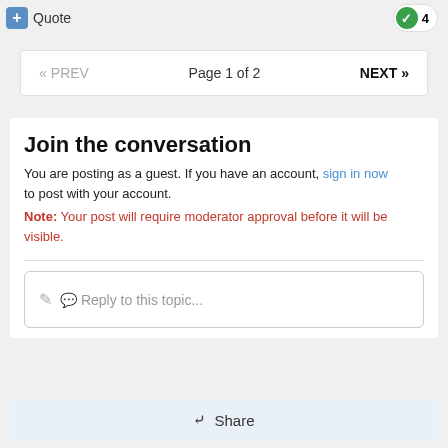Quote   4
« PREV   Page 1 of 2   NEXT »
Join the conversation
You are posting as a guest. If you have an account, sign in now to post with your account.
Note: Your post will require moderator approval before it will be visible.
Reply to this topic...
Share